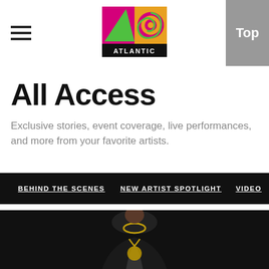[Figure (logo): Atlantic Records logo — colorful retro logo with pink/green/orange squares and 'ATLANTIC' text below]
All Access
Exclusive stories, event coverage, live performances, and more from your favorite artists.
BEHIND THE SCENES   NEW ARTIST SPOTLIGHT   VIDEO
[Figure (photo): Artist in black leather jacket with large gold chain medallion necklace, photographed against black background]